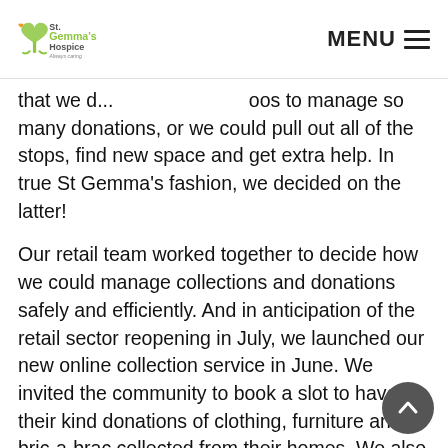St. Gemma's Hospice — MENU
that we ... oos to manage so many donations, or we could pull out all of the stops, find new space and get extra help. In true St Gemma’s fashion, we decided on the latter!
Our retail team worked together to decide how we could manage collections and donations safely and efficiently. And in anticipation of the retail sector reopening in July, we launched our new online collection service in June. We invited the community to book a slot to have their kind donations of clothing, furniture and bric-a-brac collected from their homes. We also launched a ‘drive & drop’ service encouraging donors to